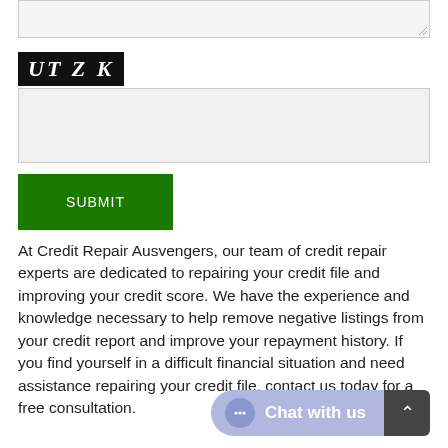[Figure (screenshot): Top input/textarea field with resize handle, gray background]
[Figure (logo): Black background logo box with white italic text reading 'UT Z K']
[Figure (screenshot): Second input area, light gray, for user text entry]
[Figure (screenshot): Green SUBMIT button]
At Credit Repair Ausvengers, our team of credit repair experts are dedicated to repairing your credit file and improving your credit score. We have the experience and knowledge necessary to help remove negative listings from your credit report and improve your repayment history. If you find yourself in a difficult financial situation and need assistance repairing your credit file, contact us today for a free consultation.
[Figure (screenshot): Chat widget bubble with '...' icon and 'Chat with us' text, plus a dark upward arrow button]